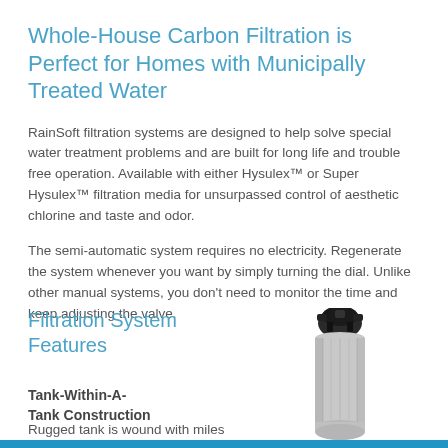Whole-House Carbon Filtration is Perfect for Homes with Municipally Treated Water
RainSoft filtration systems are designed to help solve special water treatment problems and are built for long life and trouble free operation. Available with either Hysulex™ or Super Hysulex™ filtration media for unsurpassed control of aesthetic chlorine and taste and odor.
The semi-automatic system requires no electricity. Regenerate the system whenever you want by simply turning the dial. Unlike other manual systems, you don't need to monitor the time and keep adjusting the valve.
Filtration System Features
Tank-Within-A-Tank Construction
Rugged tank is wound with miles
[Figure (photo): Gray cylindrical whole-house water filtration tank with black valve head on top]